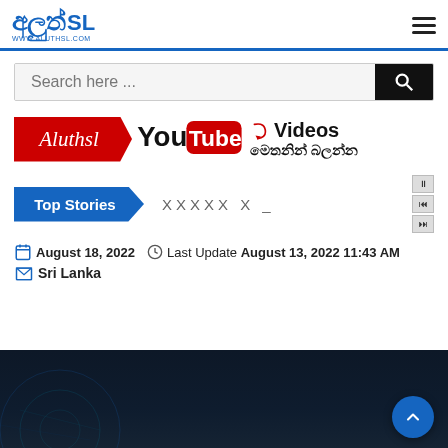අලුත් SL – www.aluthsl.com
Search here ...
[Figure (logo): AluthSL YouTube Videos banner with red arrow-shaped logo, YouTube logo, and Sinhala text]
Top Stories – ticker text
August 18, 2022   Last Update August 13, 2022 11:43 AM
Sri Lanka
[Figure (photo): Dark background with blue/teal circular tech imagery at bottom of page]